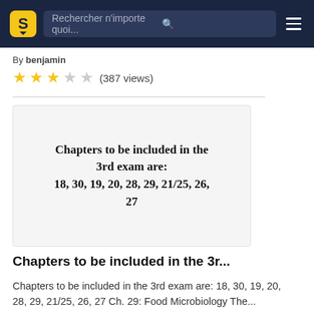Rechercher n'importe quoi...
By benjamin
★★★☆☆ (387 views)
[Figure (screenshot): Document preview card showing bold text: Chapters to be included in the 3rd exam are: 18, 30, 19, 20, 28, 29, 21/25, 26, 27]
Chapters to be included in the 3r...
Chapters to be included in the 3rd exam are: 18, 30, 19, 20, 28, 29, 21/25, 26, 27 Ch. 29: Food Microbiology The...
By barnad